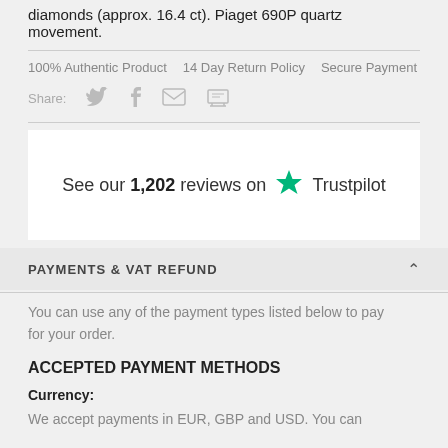diamonds (approx. 16.4 ct). Piaget 690P quartz movement.
100% Authentic Product  14 Day Return Policy  Secure Payment
Share: [twitter] [facebook] [email] [print]
[Figure (infographic): Trustpilot review badge: See our 1,202 reviews on Trustpilot (green star logo)]
PAYMENTS & VAT REFUND
You can use any of the payment types listed below to pay for your order.
ACCEPTED PAYMENT METHODS
Currency:
We accept payments in EUR, GBP and USD. You can